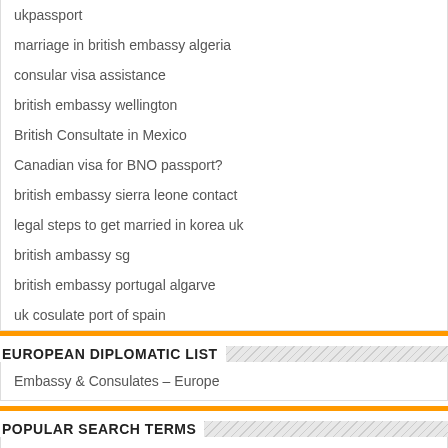ukpassport
marriage in british embassy algeria
consular visa assistance
british embassy wellington
British Consultate in Mexico
Canadian visa for BNO passport?
british embassy sierra leone contact
legal steps to get married in korea uk
british ambassy sg
british embassy portugal algarve
uk cosulate port of spain
EUROPEAN DIPLOMATIC LIST
Embassy & Consulates – Europe
POPULAR SEARCH TERMS
BNO renewal